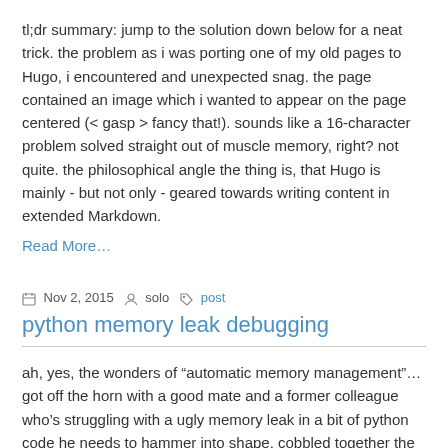tl;dr summary: jump to the solution down below for a neat trick. the problem as i was porting one of my old pages to Hugo, i encountered and unexpected snag. the page contained an image which i wanted to appear on the page centered (< gasp > fancy that!). sounds like a 16-character problem solved straight out of muscle memory, right? not quite. the philosophical angle the thing is, that Hugo is mainly - but not only - geared towards writing content in extended Markdown.
Read More…
Nov 2, 2015   solo   post
python memory leak debugging
ah, yes, the wonders of “automatic memory management”… got off the horn with a good mate and a former colleague who’s struggling with a ugly memory leak in a bit of python code he needs to hammer into shape. cobbled together the following pointers for him, and it’s quite a shame that there’s a